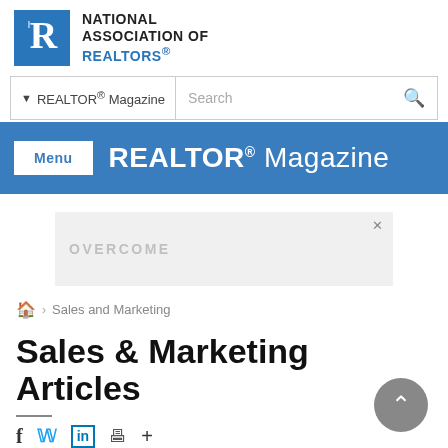[Figure (logo): National Association of REALTORS logo with blue square containing white R icon and bold text]
[Figure (screenshot): REALTOR Magazine website navigation bar with search field and blue menu bar]
[Figure (infographic): Advertisement banner with OVERCOME text on grey background]
Sales and Marketing
Sales & Marketing Articles
f  in  +  (social sharing icons)